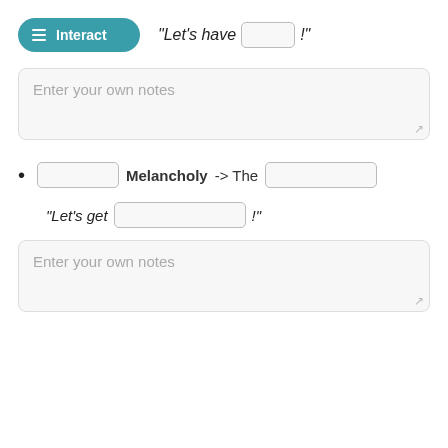Interact
"Let's have [blank]!"
Enter your own notes
[blank] Melancholy -> The [blank]
"Let's get [blank]!"
Enter your own notes